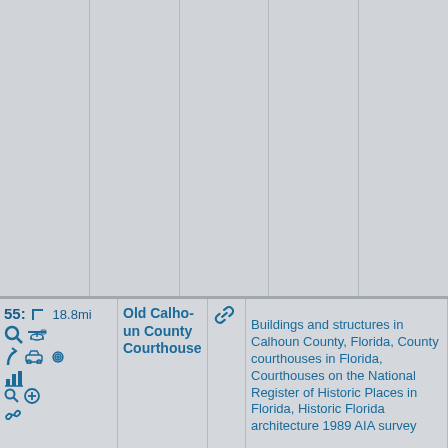[Figure (other): Top portion showing a 5-column gray grid layout with column dividers, representing a map or table background area.]
55: 18.8mi
[Figure (infographic): Row of icons: search/magnify, arrow turn, helicopter, car, spiral, bar chart, search, plus circle, link chain]
Old Calhoun County Courthouse
[Figure (infographic): Chain link icon]
Buildings and structures in Calhoun County, Florida, County courthouses in Florida, Courthouses on the National Register of Historic Places in Florida, Historic Florida architecture 1989 AIA survey
[Figure (photo): Photograph of the Old Calhoun County Courthouse, a red brick Victorian-style building with palm trees in the foreground and blue sky background.]